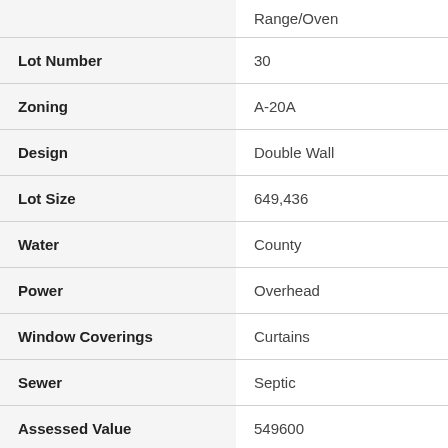| Field | Value |
| --- | --- |
|  | Range/Oven |
| Lot Number | 30 |
| Zoning | A-20A |
| Design | Double Wall |
| Lot Size | 649,436 |
| Water | County |
| Power | Overhead |
| Window Coverings | Curtains |
| Sewer | Septic |
| Assessed Value | 549600 |